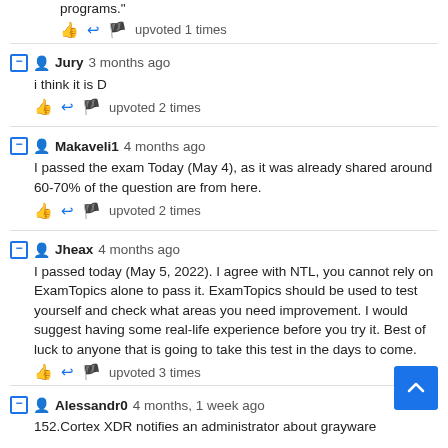programs."
upvoted 1 times
Jury 3 months ago
i think it is D
upvoted 2 times
Makaveli1 4 months ago
I passed the exam Today (May 4), as it was already shared around 60-70% of the question are from here.
upvoted 2 times
Jheax 4 months ago
I passed today (May 5, 2022). I agree with NTL, you cannot rely on ExamTopics alone to pass it. ExamTopics should be used to test yourself and check what areas you need improvement. I would suggest having some real-life experience before you try it. Best of luck to anyone that is going to take this test in the days to come.
upvoted 3 times
Alessandr0 4 months, 1 week ago
152.Cortex XDR notifies an administrator about grayware